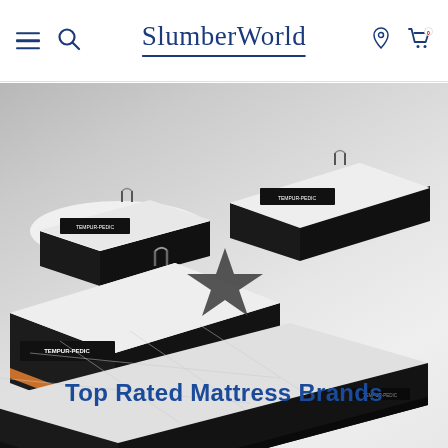SlumberWorld
[Figure (photo): A hero product photo of multiple Tempur-Pedic mattresses arranged on a light gray studio background. Several white mattresses with dark side panels are shown at angles. In the foreground is a large white mattress with quilted top. A dark star icon overlay is visible in the center. Text overlay reads 'Top Rated Mattress Brands'.]
Top Rated Mattress Brands